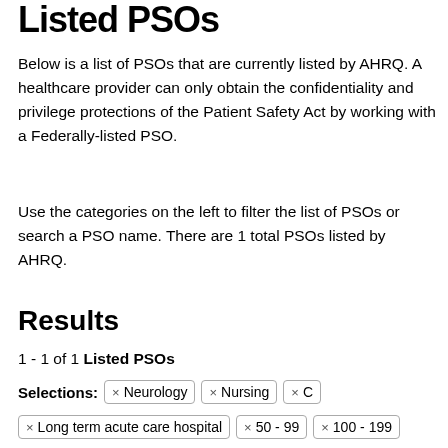Listed PSOs
Below is a list of PSOs that are currently listed by AHRQ. A healthcare provider can only obtain the confidentiality and privilege protections of the Patient Safety Act by working with a Federally-listed PSO.
Use the categories on the left to filter the list of PSOs or search a PSO name. There are 1 total PSOs listed by AHRQ.
Results
1 - 1 of 1 Listed PSOs
Selections: × Neurology × Nursing × C × Long term acute care hospital × 50 - 99 × 100 - 199